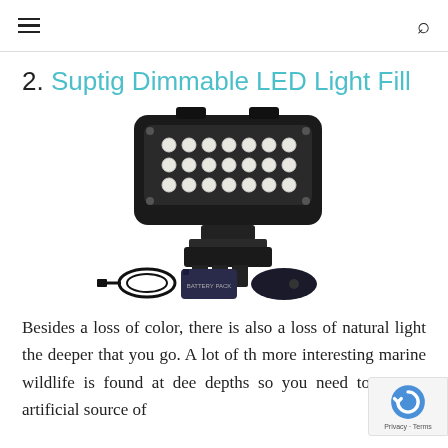☰  🔍
2. Suptig Dimmable LED Light Fill
[Figure (photo): Suptig Dimmable LED light fill product image showing the LED lamp unit with mount, plus accessories: USB cable, battery pack, and remote control.]
Besides a loss of color, there is also a loss of natural light the deeper that you go. A lot of the more interesting marine wildlife is found at deeper depths so you need to use an artificial source of